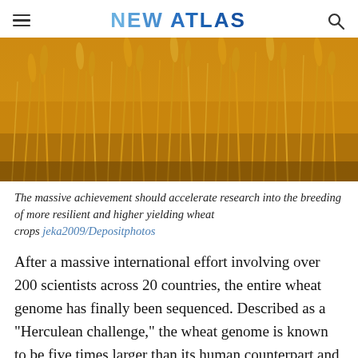NEW ATLAS
[Figure (photo): Close-up photograph of golden wheat stalks with grain heads, a field of ripe wheat crops filling the entire frame with warm golden tones.]
The massive achievement should accelerate research into the breeding of more resilient and higher yielding wheat crops  jeka2009/Depositphotos
After a massive international effort involving over 200 scientists across 20 countries, the entire wheat genome has finally been sequenced. Described as a "Herculean challenge," the wheat genome is known to be five times larger than its human counterpart and exponentially more complex. The landmark